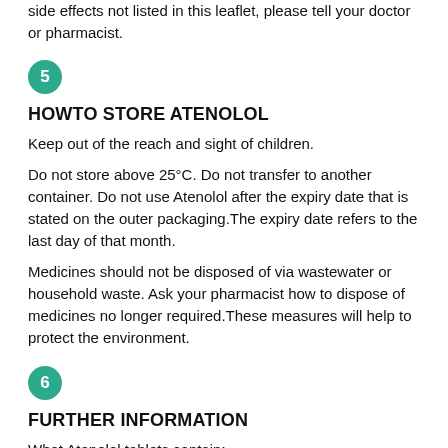side effects not listed in this leaflet, please tell your doctor or pharmacist.
[Figure (other): Circle badge with number 5 in teal/green color]
HOWTO STORE ATENOLOL
Keep out of the reach and sight of children.
Do not store above 25°C. Do not transfer to another container. Do not use Atenolol after the expiry date that is stated on the outer packaging.The expiry date refers to the last day of that month.
Medicines should not be disposed of via wastewater or household waste. Ask your pharmacist how to dispose of medicines no longer required.These measures will help to protect the environment.
[Figure (other): Circle badge with number 6 in teal/green color]
FURTHER INFORMATION
What Atenolol tablets contain:
Each tablet contains either 25 mg, 50 mg or 100 mg